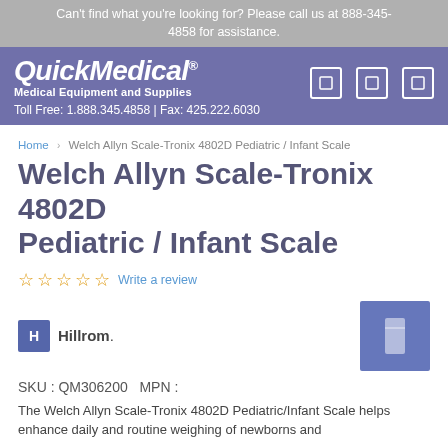Can't find what you're looking for? Please call us at 888-345-4858 for assistance.
[Figure (logo): QuickMedical logo with tagline 'Medical Equipment and Supplies' and contact info 'Toll Free: 1.888.345.4858 | Fax: 425.222.6030']
Home › Welch Allyn Scale-Tronix 4802D Pediatric / Infant Scale
Welch Allyn Scale-Tronix 4802D Pediatric / Infant Scale
☆ ☆ ☆ ☆ ☆  Write a review
[Figure (logo): Hillrom brand logo with blue square icon and 'Hillrom.' text]
[Figure (photo): Small thumbnail image of the Welch Allyn Scale-Tronix 4802D product]
SKU : QM306200   MPN :
The Welch Allyn Scale-Tronix 4802D Pediatric/Infant Scale helps enhance daily and routine weighing of newborns and